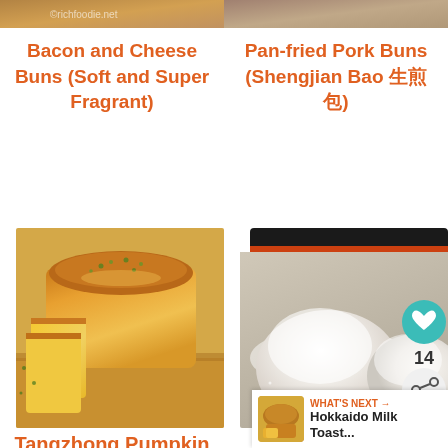[Figure (photo): Top portion of bread/buns photo (left column, cropped at top)]
[Figure (photo): Top portion of pan-fried pork buns photo (right column, cropped at top)]
Bacon and Cheese Buns (Soft and Super Fragrant)
Pan-fried Pork Buns (Shengjian Bao 生煎包)
[Figure (photo): Tangzhong Pumpkin Loaf – sliced yellow bread loaf on wooden board]
[Figure (photo): Pizza Dough – white dough balls dusted with flour on baking sheet]
Tangzhong Pumpkin Loaf
Pizza Dough